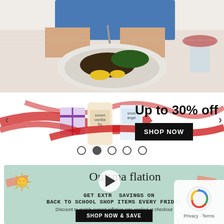[Figure (photo): Person in blue top eating a dish of seared fish with greens and mango on a grey plate at a white table]
[Figure (photo): Philosophy brand beauty products (sweet vanilla fig and snow angel) with Christmas ribbon decorations, promotion banner reading 'Up to 30% off' with SHOP NOW button and carousel navigation dots]
[Figure (infographic): Outsmart Inflation promotional banner on mint green background with sun icon, tape decorations, play button overlay, handwritten-style text: GET EXTRA SAVINGS ON BACK TO SCHOOL SHOP ITEMS EVERY FRIDAY, subtitle: Discount to match current inflation rate applied at checkout, terms apply, SHOP NOW & SAVE button]
[Figure (logo): Google reCAPTCHA logo with Privacy and Terms text in white overlay box at bottom right]